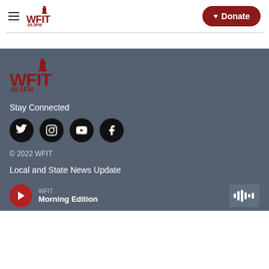WFIT 89.5FM — Donate
[Figure (logo): WFIT 89.5FM radio station logo in dark red]
Stay Connected
[Figure (infographic): Social media icons: Twitter, Instagram, YouTube, Facebook — black circles]
© 2022 WFIT
Local and State News Update
WFIT Morning Edition